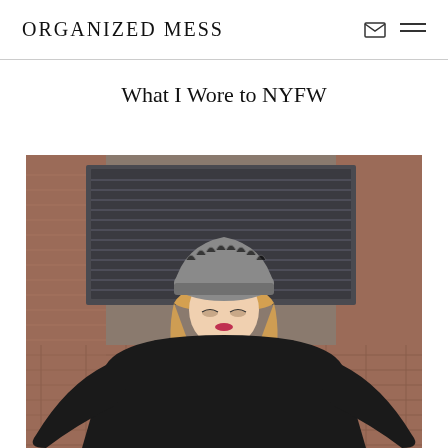ORGANIZED MESS
What I Wore to NYFW
[Figure (photo): Young blonde woman wearing a grey knit beanie and black oversized top with flared sleeves, standing in front of a red brick building with dark windows, looking downward.]